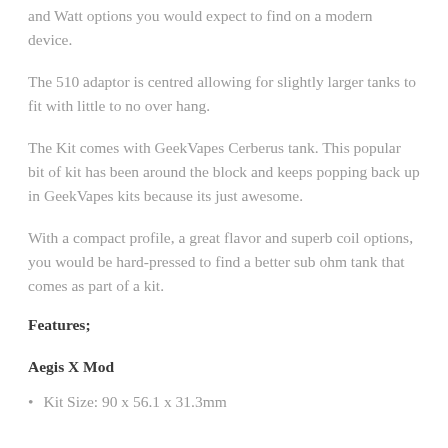and Watt options you would expect to find on a modern device.
The 510 adaptor is centred allowing for slightly larger tanks to fit with little to no over hang.
The Kit comes with GeekVapes Cerberus tank. This popular bit of kit has been around the block and keeps popping back up in GeekVapes kits because its just awesome.
With a compact profile, a great flavor and superb coil options, you would be hard-pressed to find a better sub ohm tank that comes as part of a kit.
Features;
Aegis X Mod
Kit Size: 90 x 56.1 x 31.3mm